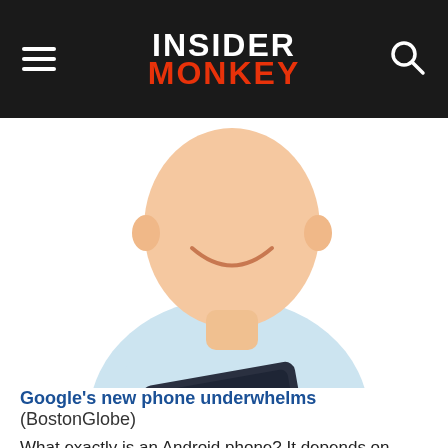INSIDER MONKEY
[Figure (illustration): Cartoon illustration of a smiling man in a light blue button-up shirt holding and tapping on a dark tablet device. The figure has an oversized cartoon head with a big grin and no visible hair. The illustration is in a comic/caricature style.]
Google's new phone underwhelms (BostonGlobe)
What exactly is an Android phone? It depends on